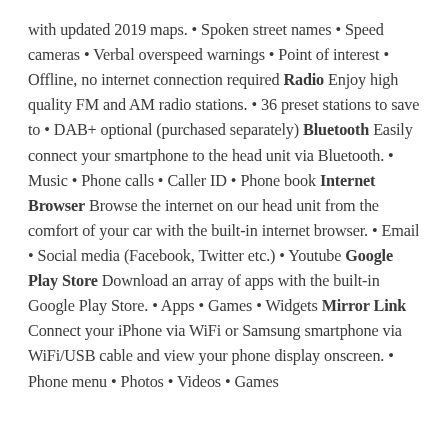with updated 2019 maps. • Spoken street names • Speed cameras • Verbal overspeed warnings • Point of interest • Offline, no internet connection required Radio Enjoy high quality FM and AM radio stations. • 36 preset stations to save to • DAB+ optional (purchased separately) Bluetooth Easily connect your smartphone to the head unit via Bluetooth. • Music • Phone calls • Caller ID • Phone book Internet Browser Browse the internet on our head unit from the comfort of your car with the built-in internet browser. • Email • Social media (Facebook, Twitter etc.) • Youtube Google Play Store Download an array of apps with the built-in Google Play Store. • Apps • Games • Widgets Mirror Link Connect your iPhone via WiFi or Samsung smartphone via WiFi/USB cable and view your phone display onscreen. • Phone menu • Photos • Videos • Games